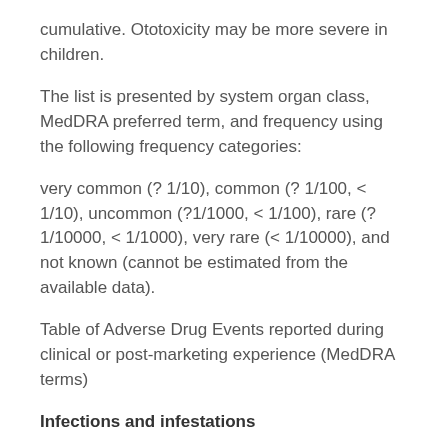cumulative. Ototoxicity may be more severe in children.
The list is presented by system organ class, MedDRA preferred term, and frequency using the following frequency categories:
very common (? 1/10), common (? 1/100, < 1/10), uncommon (?1/1000, < 1/100), rare (? 1/10000, < 1/1000), very rare (< 1/10000), and not known (cannot be estimated from the available data).
Table of Adverse Drug Events reported during clinical or post-marketing experience (MedDRA terms)
Infections and infestations